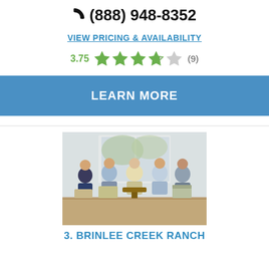(888) 948-8352
VIEW PRICING & AVAILABILITY
3.75 ★★★★☆ (9)
LEARN MORE
[Figure (photo): Group of elderly people and a caregiver sitting together in a bright sunroom-style room, chatting and socializing.]
3. BRINLEE CREEK RANCH